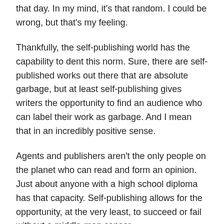that day. In my mind, it's that random. I could be wrong, but that's my feeling.
Thankfully, the self-publishing world has the capability to dent this norm. Sure, there are self-published works out there that are absolute garbage, but at least self-publishing gives writers the opportunity to find an audience who can label their work as garbage. And I mean that in an incredibly positive sense.
Agents and publishers aren't the only people on the planet who can read and form an opinion. Just about anyone with a high school diploma has that capacity. Self-publishing allows for the opportunity, at the very least, to succeed or fail without a middle-man censor.
Do you write every day?
I'm not one of these people who designates two, three, or four hours of free time a day to write.